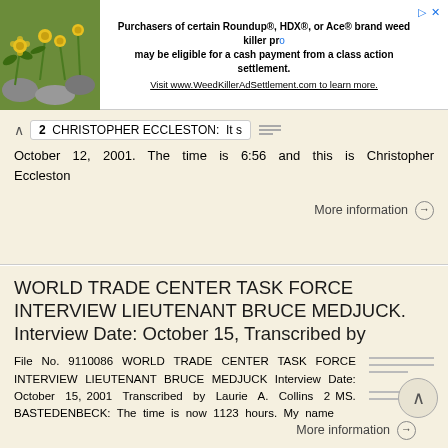[Figure (screenshot): Advertisement banner with flower/plant image on left and text about Roundup, HDX, or Ace brand weed killer settlement on right.]
2  CHRISTOPHER ECCLESTON:  It s
October  12,  2001.  The  time  is  6:56  and  this  is  Christopher Eccleston
More information →
WORLD TRADE CENTER TASK FORCE INTERVIEW LIEUTENANT BRUCE MEDJUCK. Interview Date: October 15, Transcribed by
File  No.  9110086  WORLD  TRADE  CENTER  TASK  FORCE  INTERVIEW  LIEUTENANT  BRUCE  MEDJUCK  Interview  Date:  October  15,  2001  Transcribed  by  Laurie  A.  Collins  2  MS.  BASTEDENBECK:  The  time  is  now  1123  hours.  My  name
More information →